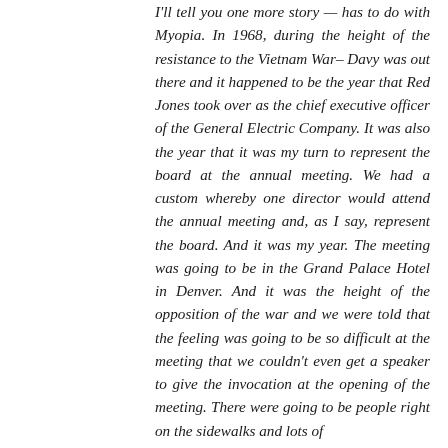I'll tell you one more story — has to do with Myopia. In 1968, during the height of the resistance to the Vietnam War– Davy was out there and it happened to be the year that Red Jones took over as the chief executive officer of the General Electric Company. It was also the year that it was my turn to represent the board at the annual meeting. We had a custom whereby one director would attend the annual meeting and, as I say, represent the board. And it was my year. The meeting was going to be in the Grand Palace Hotel in Denver. And it was the height of the opposition of the war and we were told that the feeling was going to be so difficult at the meeting that we couldn't even get a speaker to give the invocation at the opening of the meeting. There were going to be people right on the sidewalks and lots of